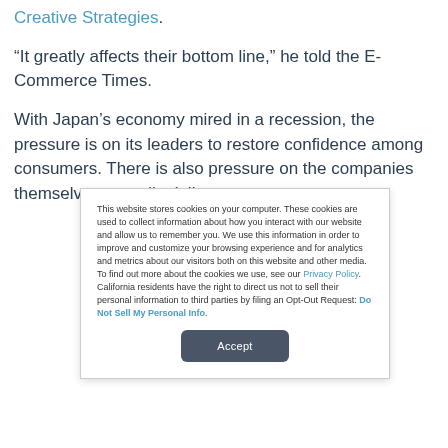Creative Strategies.
“It greatly affects their bottom line,” he told the E-Commerce Times.
With Japan’s economy mired in a recession, the pressure is on its leaders to restore confidence among consumers. There is also pressure on the companies themselves to really deliver
This website stores cookies on your computer. These cookies are used to collect information about how you interact with our website and allow us to remember you. We use this information in order to improve and customize your browsing experience and for analytics and metrics about our visitors both on this website and other media. To find out more about the cookies we use, see our Privacy Policy. California residents have the right to direct us not to sell their personal information to third parties by filing an Opt-Out Request: Do Not Sell My Personal Info.
Accept